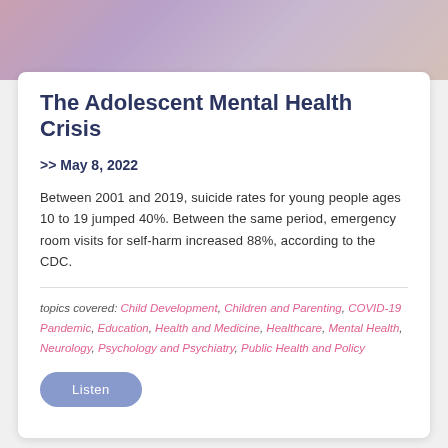[Figure (photo): Banner photo at top showing a blurred background with pink and purple tones, appears to be a person in a room.]
The Adolescent Mental Health Crisis
>> May 8, 2022
Between 2001 and 2019, suicide rates for young people ages 10 to 19 jumped 40%. Between the same period, emergency room visits for self-harm increased 88%, according to the CDC.
topics covered: Child Development, Children and Parenting, COVID-19 Pandemic, Education, Health and Medicine, Healthcare, Mental Health, Neurology, Psychology and Psychiatry, Public Health and Policy